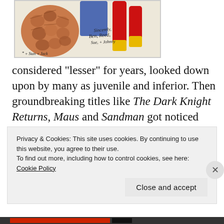[Figure (illustration): Comic book artwork showing characters with handwritten signatures reading 'Sincerely, Ben, Reed, Sue, + Johnny' and '+ Stan + Jack' at the bottom left. Features The Thing's rocky texture on the left and Spider-Man's legs in red on the right.]
considered "lesser" for years, looked down upon by many as juvenile and inferior. Then groundbreaking titles like The Dark Knight Returns, Maus and Sandman got noticed outside of the industry, and the way the public thought about the medium began to change
Privacy & Cookies: This site uses cookies. By continuing to use this website, you agree to their use.
To find out more, including how to control cookies, see here: Cookie Policy
Close and accept